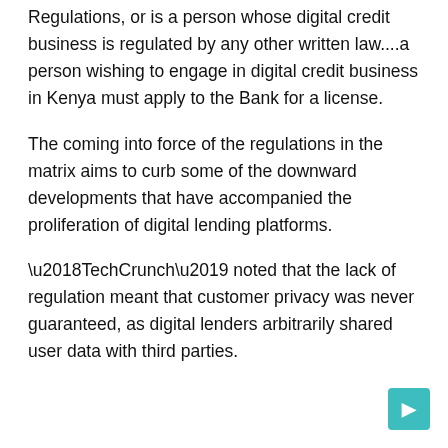Regulations, or is a person whose digital credit business is regulated by any other written law....a person wishing to engage in digital credit business in Kenya must apply to the Bank for a license.
The coming into force of the regulations in the matrix aims to curb some of the downward developments that have accompanied the proliferation of digital lending platforms.
‘TechCrunch’ noted that the lack of regulation meant that customer privacy was never guaranteed, as digital lenders arbitrarily shared user data with third parties.